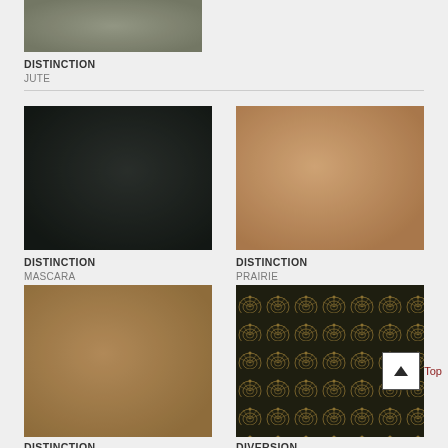[Figure (photo): Fabric swatch in olive/jute color]
DISTINCTION
JUTE
[Figure (photo): Fabric swatch in near-black/mascara color]
DISTINCTION
MASCARA
[Figure (photo): Fabric swatch in warm tan/prairie color]
DISTINCTION
PRAIRIE
[Figure (photo): Fabric swatch in camel/tan color - Distinction]
DISTINCTION
[Figure (photo): Patterned fabric swatch with dark background and gold fan/peacock feather pattern]
DIVERSION